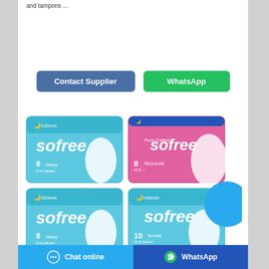and tampons ...
[Figure (illustration): Two buttons: 'Contact Supplier' (blue) and 'WhatsApp' (green)]
[Figure (photo): Four 'Sofree' sanitary pad product boxes arranged in a 2x2 grid - blue boxes labeled '8 Heavy' and one pink/magenta Pure Cotton box labeled '8' and a lower blue box labeled '10 Normal']
Chat online | WhatsApp